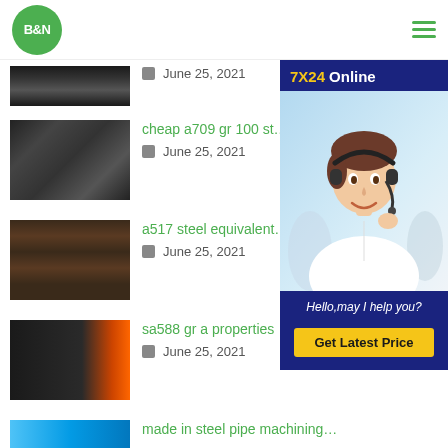[Figure (logo): B&N green circular logo]
[Figure (screenshot): Hamburger menu icon with three green lines]
[Figure (photo): Steel pipes/tubes stacked, partial view - first blog item thumbnail]
June 25, 2021
[Figure (photo): Steel round pipes stacked horizontally - cheap a709 gr 100 st...]
cheap a709 gr 100 st…
June 25, 2021
[Figure (photo): Steel pipes stacked - a517 steel equivalent...]
a517 steel equivalent…
June 25, 2021
[Figure (photo): Steel pipes with orange caps - sa588 gr a properties]
sa588 gr a properties
June 25, 2021
[Figure (photo): Blue pipe partial - made in steel pipe machining...]
made in steel pipe machining…
[Figure (infographic): 7X24 Online customer service widget with photo and Get Latest Price button]